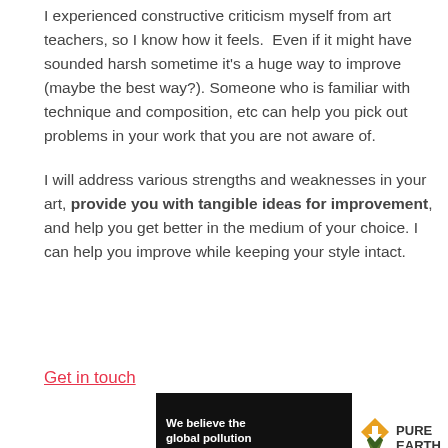I experienced constructive criticism myself from art teachers, so I know how it feels.  Even if it might have sounded harsh sometime it's a huge way to improve (maybe the best way?). Someone who is familiar with technique and composition, etc can help you pick out problems in your work that you are not aware of.

I will address various strengths and weaknesses in your art, provide you with tangible ideas for improvement, and help you get better in the medium of your choice. I can help you improve while keeping your style intact.
Get in touch
[Figure (infographic): Pure Earth advertisement banner: dark background with text 'We believe the global pollution crisis can be solved.' and 'In a world where pollution doesn't stop at borders, we can all be part of the solution. JOIN US.' with Pure Earth logo on the right.]